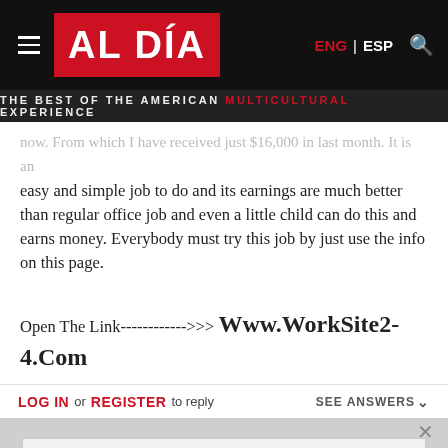AL DÍA — THE BEST OF THE AMERICAN MULTICULTURAL EXPERIENCE | ENG | ESP
easy and simple job to do and its earnings are much better than regular office job and even a little child can do this and earns money. Everybody must try this job by just use the info on this page.
Open The Link---------->>> Www.WorkSite2-4.Com
LOG IN or REGISTER to reply   SEE ANSWERS
Sign up for our Daily Newsletter.
Enter email  SIGN UP